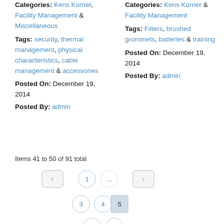Categories: Kens Korner, Facility Management & Miscellaneous
Tags: security, thermal management, physical characteristics, cable management & accessories
Posted On: December 19, 2014
Posted By: admin
Categories: Kens Korner & Facility Management
Tags: Filters, brushed grommets, batteries & training
Posted On: December 19, 2014
Posted By: admin
Items 41 to 50 of 91 total
[Figure (other): Pagination navigation with page buttons: prev arrow, 1, ..., 3, 4, 5 (active), 6, 7, ..., 10, next arrow]